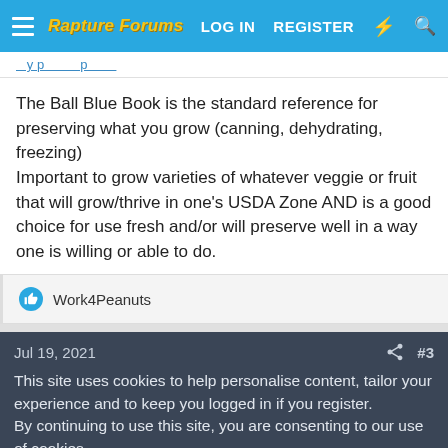Rapture Forums | LOG IN | REGISTER
The Ball Blue Book is the standard reference for preserving what you grow (canning, dehydrating, freezing)
Important to grow varieties of whatever veggie or fruit that will grow/thrive in one's USDA Zone AND is a good choice for use fresh and/or will preserve well in a way one is willing or able to do.
Work4Peanuts
Jul 19, 2021 #3
This site uses cookies to help personalise content, tailor your experience and to keep you logged in if you register.
By continuing to use this site, you are consenting to our use of cookies.
✓ Accept | Learn more...